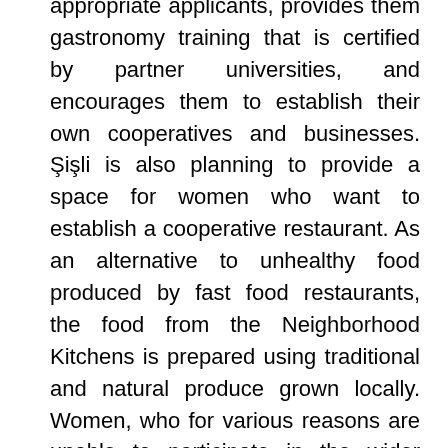appropriate applicants, provides them gastronomy training that is certified by partner universities, and encourages them to establish their own cooperatives and businesses. Şişli is also planning to provide a space for women who want to establish a cooperative restaurant. As an alternative to unhealthy food produced by fast food restaurants, the food from the Neighborhood Kitchens is prepared using traditional and natural produce grown locally. Women, who for various reasons are unable to participate in the wider labor force, are also provided with employment.

The project's leaders state that the primary objective is to...